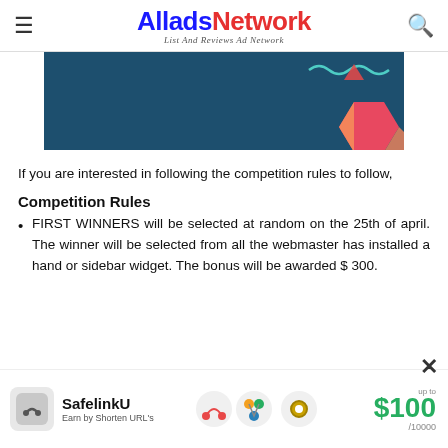AlladsNetwork — List And Reviews Ad Network
[Figure (illustration): Decorative banner image with dark teal background, geometric shapes including a pink triangle, a colorful hexagon (pink, orange, teal), and a teal squiggly line pattern]
If you are interested in following the competition rules to follow,
Competition Rules
FIRST WINNERS will be selected at random on the 25th of april. The winner will be selected from all the webmaster has installed a hand or sidebar widget. The bonus will be awarded $ 300.
[Figure (infographic): SafelinkU advertisement banner: logo with chain link icon, tagline 'Earn by Shorten URL's', decorative icons in middle, and '$100 up to /10000' offer on right]